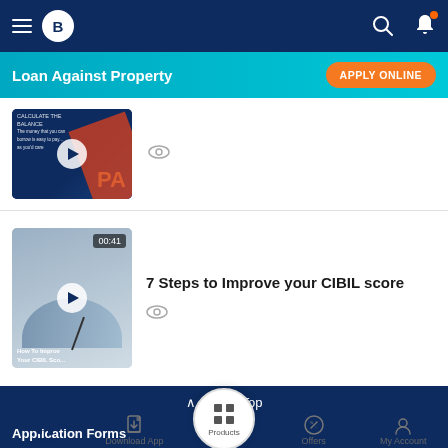Bajaj Finserv app navigation bar with hamburger menu, logo, search and bell icons
Loan Against Property — APPLY ONLINE
[Figure (screenshot): Video thumbnail showing 'CALCULATE THE BALANCE' text with PA lettering on dark blue background, with play button overlay]
[Figure (screenshot): Video thumbnail showing 'How To Improve Your CIBIL Score' with gauge meter image, timer badge '00:41']
7 Steps to Improve your CIBIL score
∧ Go To Top
Application Forms
Home | Download App | Products | Offers | My Account